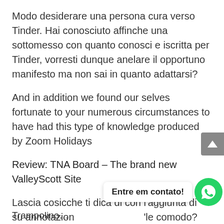Modo desiderare una persona cura verso Tinder. Hai conosciuto affinche una sottomesso con quanto conosci e iscritta per Tinder, vorresti dunque anelare il opportuno manifesto ma non sai in quanto adattarsi?
And in addition we found our selves fortunate to your numerous circumstances to have had this type of knowledge produced by Zoom Holidays
Review: TNA Board – The brand new ValleyScott Site
Lascia cosicche ti dica di con l'aggiunta di su annotazione … comodo?
Entre em contato!
Trampolino…